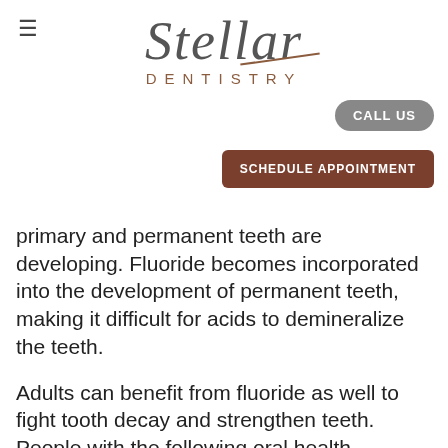[Figure (logo): Stellar Dentistry logo with italic serif wordmark and decorative underline stroke, plus 'DENTISTRY' in spaced caps below]
CALL US
SCHEDULE APPOINTMENT
primary and permanent teeth are developing. Fluoride becomes incorporated into the development of permanent teeth, making it difficult for acids to demineralize the teeth.
Adults can benefit from fluoride as well to fight tooth decay and strengthen teeth. People with the following oral health conditions are more susceptible to decay and may especially benefit from fluoride.